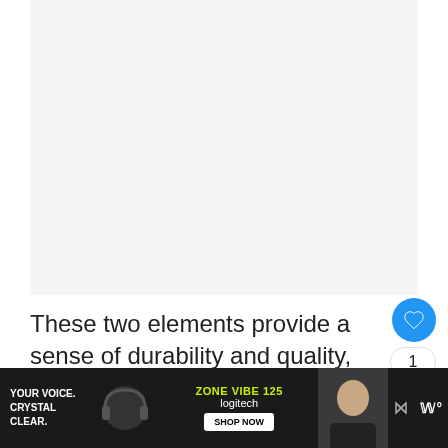[Figure (photo): Light gray placeholder image area representing a product photo (cleats/shoes)]
These two elements provide a sense of durability and quality, despite the price of t... product. The heel section of these cleats is lined with synthetic leather that provides comfort and then covered with a mesh layer th...
[Figure (screenshot): Advertisement bar for Logitech Zone Vibe 125 headphones with text 'YOUR VOICE. CRYSTAL CLEAR.' and SHOP NOW button]